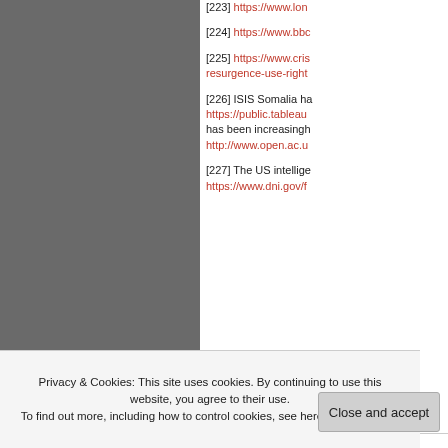[Figure (photo): Dark grey torn-edge image, appears to be a geographic or abstract photo filling the left portion of the page.]
[223] https://www.lon
[224] https://www.bbo
[225] https://www.cris resurgence-use-right
[226] ISIS Somalia ha https://public.tableau has been increasingh http://www.open.ac.u
[227] The US intellige https://www.dni.gov/f
Privacy & Cookies: This site uses cookies. By continuing to use this website, you agree to their use. To find out more, including how to control cookies, see here: Cookie Policy
Close and accept